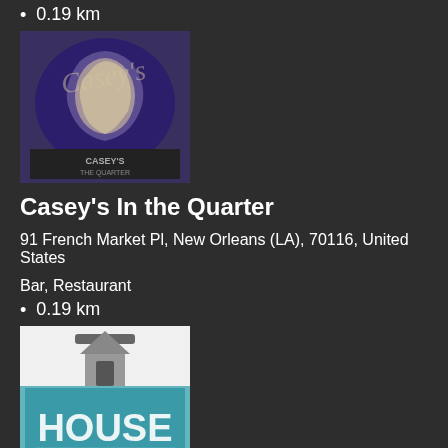0.19 km
[Figure (logo): Casey's In the Quarter logo - purple/blue illustrated logo with a figure and text]
Casey's In the Quarter
91 French Market Pl, New Orleans (LA), 70116, United States
Bar, Restaurant
0.19 km
[Figure (logo): The Ice House at the Provincial Hotel logo - teal/white logo with house imagery]
The Ice House at the Provincial Hotel
1024 Chartres St, New Orleans (LA), 70116, United States
Bar, Hotel, Lounge